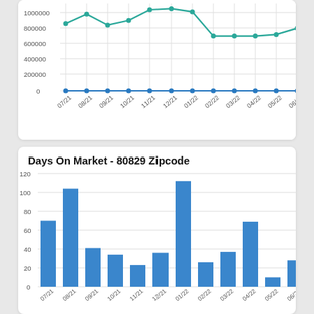[Figure (line-chart): ]
Days On Market - 80829 Zipcode
[Figure (bar-chart): Days On Market - 80829 Zipcode]